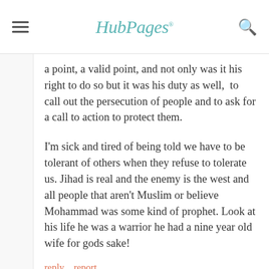HubPages
a point, a valid point, and not only was it his right to do so but it was his duty as well,  to call out the persecution of people and to ask for a call to action to protect them.
I'm sick and tired of being told we have to be tolerant of others when they refuse to tolerate us. Jihad is real and the enemy is the west and all people that aren't Muslim or believe Mohammad was some kind of prophet. Look at his life he was a warrior he had a nine year old wife for gods sake!
reply   report